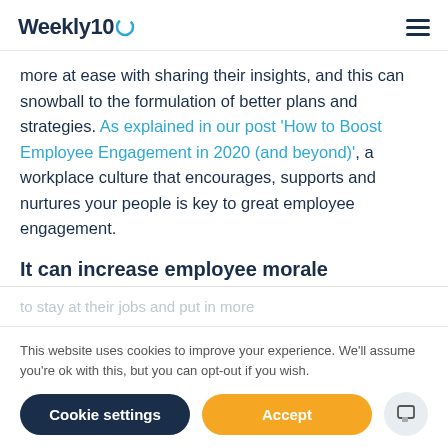Weekly10 [logo] [hamburger menu]
more at ease with sharing their insights, and this can snowball to the formulation of better plans and strategies. As explained in our post 'How to Boost Employee Engagement in 2020 (and beyond)', a workplace culture that encourages, supports and nurtures your people is key to great employee engagement.
It can increase employee morale
This website uses cookies to improve your experience. We'll assume you're ok with this, but you can opt-out if you wish.
Cookie settings  Accept